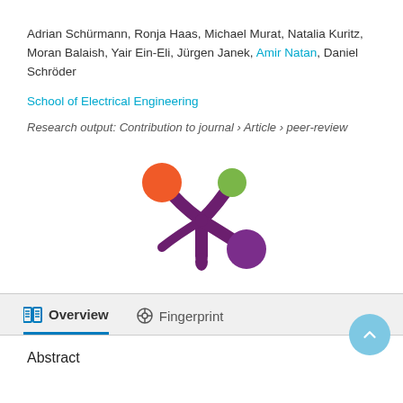Adrian Schürmann, Ronja Haas, Michael Murat, Natalia Kuritz, Moran Balaish, Yair Ein-Eli, Jürgen Janek, Amir Natan, Daniel Schröder
School of Electrical Engineering
Research output: Contribution to journal › Article › peer-review
[Figure (logo): Pure logo / branding mark: a stylized asterisk/flower shape in dark purple with three colored circles at the tips — orange (top-left), green (top-right), and purple (bottom-right)]
Overview
Fingerprint
Abstract